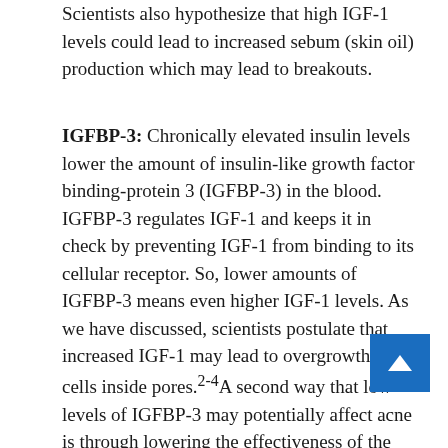Scientists also hypothesize that high IGF-1 levels could lead to increased sebum (skin oil) production which may lead to breakouts.
IGFBP-3: Chronically elevated insulin levels lower the amount of insulin-like growth factor binding-protein 3 (IGFBP-3) in the blood. IGFBP-3 regulates IGF-1 and keeps it in check by preventing IGF-1 from binding to its cellular receptor. So, lower amounts of IGFBP-3 means even higher IGF-1 levels. As we have discussed, scientists postulate that increased IGF-1 may lead to overgrowth of cells inside pores.2-4A second way that low levels of IGFBP-3 may potentially affect acne is through lowering the effectiveness of the natural retinoids in the skin. These retinoids prevent cell overgrowth. When IGFBP-3 is low, these retinoids can't do the work they are made to do.8-14